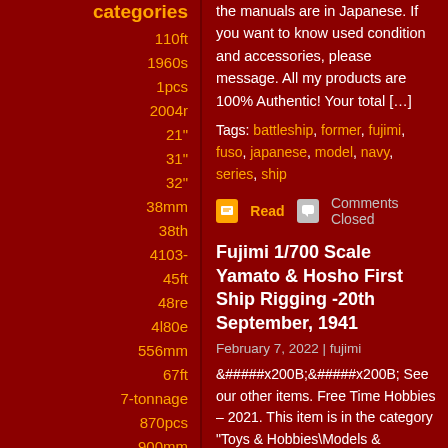categories
110ft
1960s
1pcs
2004r
21"
31"
32"
38mm
38th
4103-
45ft
48re
4l80e
556mm
67ft
7-tonnage
870pcs
900mm
a518
absolute
academy
acrylic
adam
aeropiccola
the manuals are in Japanese. If you want to know used condition and accessories, please message. All my products are 100% Authentic! Your total [...]
Tags: battleship, former, fujimi, fuso, japanese, model, navy, series, ship
Read   Comments Closed
Fujimi 1/700 Scale Yamato & Hosho First Ship Rigging -20th September, 1941
February 7, 2022 | fujimi
&#x200B;&#x200B; See our other items. Free Time Hobbies – 2021. This item is in the category "Toys & Hobbies\Models & Kits\Boats & Ships". The seller is "freetimehobbies" and is located in this country: US. This item can be shipped